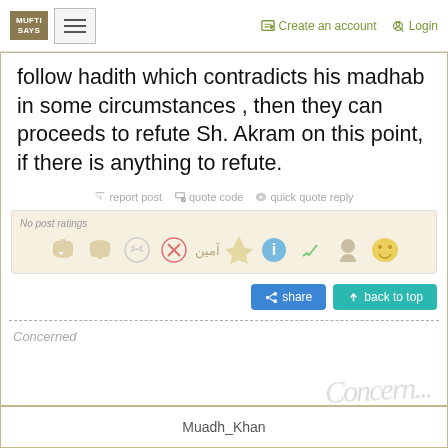MUFTI SAYS | Create an account | Login
follow hadith which contradicts his madhab in some circumstances , then they can proceeds to refute Sh. Akram on this point, if there is anything to refute.
report post  quote code  quick quote reply
No post ratings
share  back to top
Concerned
Muadh_Khan